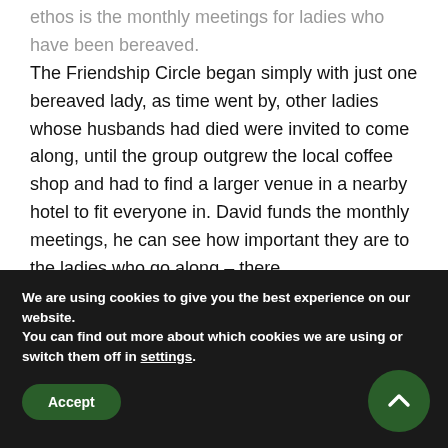ethos is the monthly meetings for ladies who have been bereaved. The Friendship Circle began simply with just one bereaved lady, as time went by, other ladies whose husbands had died were invited to come along, until the group outgrew the local coffee shop and had to find a larger venue in a nearby hotel to fit everyone in. David funds the monthly meetings, he can see how important they are to the ladies who go along – there
We are using cookies to give you the best experience on our website.
You can find out more about which cookies we are using or switch them off in settings.